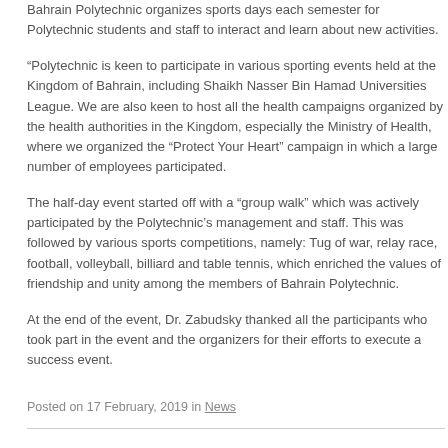Bahrain Polytechnic organizes sports days each semester for Polytechnic students and staff to interact and learn about new activities.
“Polytechnic is keen to participate in various sporting events held at the Kingdom of Bahrain, including Shaikh Nasser Bin Hamad Universities League. We are also keen to host all the health campaigns organized by the health authorities in the Kingdom, especially the Ministry of Health, where we organized the “Protect Your Heart” campaign in which a large number of employees participated.
The half-day event started off with a “group walk” which was actively participated by the Polytechnic’s management and staff. This was followed by various sports competitions, namely: Tug of war, relay race, football, volleyball, billiard and table tennis, which enriched the values of friendship and unity among the members of Bahrain Polytechnic.
At the end of the event, Dr. Zabudsky thanked all the participants who took part in the event and the organizers for their efforts to execute a success event.
Posted on 17 February, 2019 in News